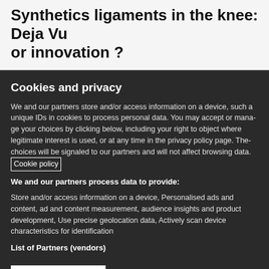Synthetics ligaments in the knee: Deja Vu or innovation ?
Cookies and privacy
We and our partners store and/or access information on a device, such a unique IDs in cookies to process personal data. You may accept or manage your choices by clicking below, including your right to object where legitimate interest is used, or at any time in the privacy policy page. These choices will be signaled to our partners and will not affect browsing data. Cookie policy
We and our partners process data to provide:
Store and/or access information on a device, Personalised ads and content, ad and content measurement, audience insights and product development, Use precise geolocation data, Actively scan device characteristics for identification
List of Partners (vendors)
I Accept